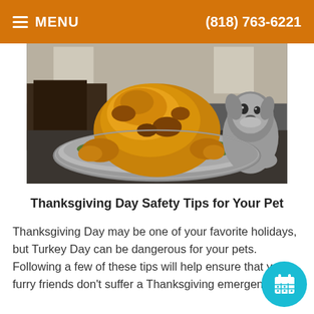MENU  (818) 763-6221
[Figure (photo): A roasted turkey on a silver platter with green garnish on a dark dining table, with a small grey dog peeking over the table edge in the background.]
Thanksgiving Day Safety Tips for Your Pet
Thanksgiving Day may be one of your favorite holidays, but Turkey Day can be dangerous for your pets. Following a few of these tips will help ensure that your furry friends don't suffer a Thanksgiving emergency.